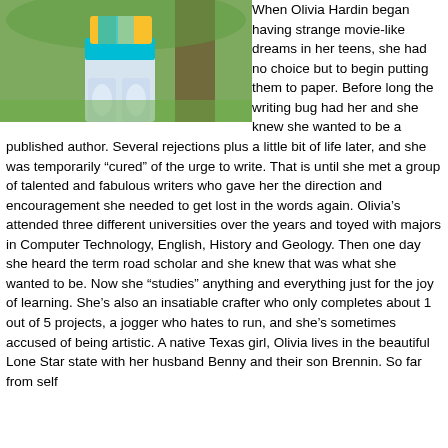[Figure (photo): Photo of Olivia Hardin from the waist down, wearing a yellow/teal/colorful top, teal shorts, and white jeans, standing outdoors near a tree with green grass background.]
When Olivia Hardin began having strange movie-like dreams in her teens, she had no choice but to begin putting them to paper. Before long the writing bug had her and she knew she wanted to be a published author. Several rejections plus a little bit of life later, and she was temporarily “cured” of the urge to write. That is until she met a group of talented and fabulous writers who gave her the direction and encouragement she needed to get lost in the words again. Olivia’s attended three different universities over the years and toyed with majors in Computer Technology, English, History and Geology. Then one day she heard the term road scholar and she knew that was what she wanted to be. Now she “studies” anything and everything just for the joy of learning. She’s also an insatiable crafter who only completes about 1 out of 5 projects, a jogger who hates to run, and she’s sometimes accused of being artistic. A native Texas girl, Olivia lives in the beautiful Lone Star state with her husband Benny and their son Brennin. So far from self